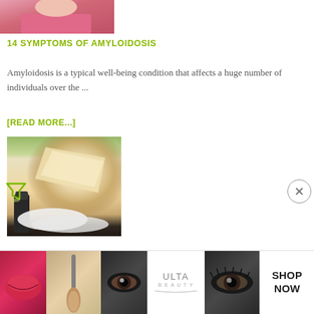[Figure (photo): Partial view of a person in a pink shirt, cropped at top of page]
14 SYMPTOMS OF AMYLOIDOSIS
Amyloidosis is a typical well-being condition that affects a huge number of individuals over the ...
[READ MORE...]
[Figure (photo): Food ingredients including cheese wedges, a dark grinder, and white powder/salt on a surface with green herbs in background]
[Figure (screenshot): Ulta Beauty advertisement banner showing makeup looks including red lips, makeup brush, eye makeup, Ulta logo, and SHOP NOW text]